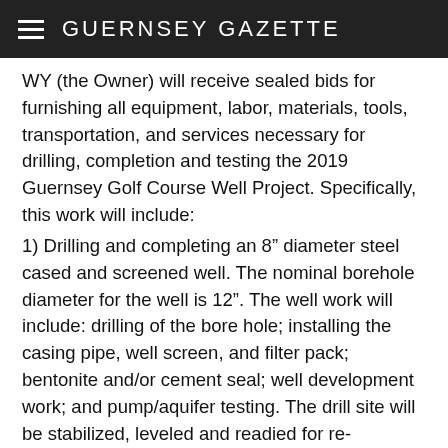GUERNSEY GAZETTE
WY (the Owner) will receive sealed bids for furnishing all equipment, labor, materials, tools, transportation, and services necessary for drilling, completion and testing the 2019 Guernsey Golf Course Well Project.  Specifically, this work will include:
1)  Drilling and completing an 8” diameter steel cased and screened well.  The nominal borehole diameter for the well is 12”.  The well work will include: drilling of the bore hole; installing the casing pipe, well screen, and filter pack; bentonite and/or cement seal; well development work; and pump/aquifer testing.  The drill site will be stabilized, leveled and readied for re-vegetation at the end of the project.
The work shall be completed in accordance with